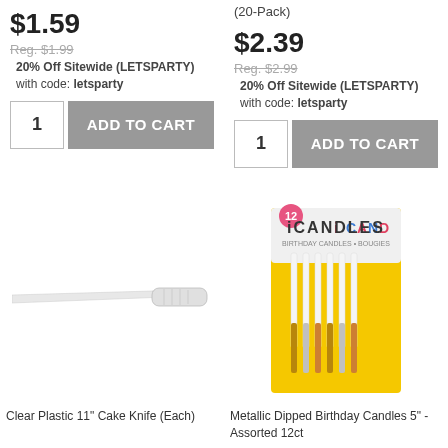$1.59
Reg. $1.99
20% Off Sitewide (LETSPARTY) with code: letsparty
1  ADD TO CART
(20-Pack)
$2.39
Reg. $2.99
20% Off Sitewide (LETSPARTY) with code: letsparty
1  ADD TO CART
[Figure (photo): Clear plastic 11 inch cake knife on white background]
[Figure (photo): iCANDLES metallic dipped birthday candles 5 inch assorted 12ct in yellow packaging]
Clear Plastic 11" Cake Knife (Each)
Metallic Dipped Birthday Candles 5" - Assorted 12ct